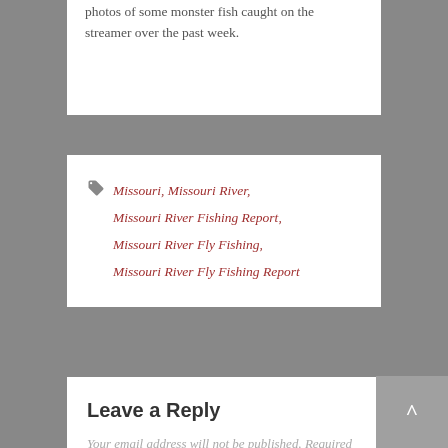photos of some monster fish caught on the streamer over the past week.
Missouri, Missouri River, Missouri River Fishing Report, Missouri River Fly Fishing, Missouri River Fly Fishing Report
Leave a Reply
Your email address will not be published. Required fields are marked *
Comment *